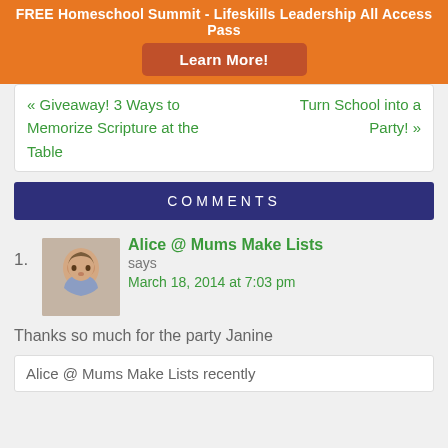FREE Homeschool Summit - Lifeskills Leadership All Access Pass
Learn More!
« Giveaway! 3 Ways to Memorize Scripture at the Table
Turn School into a Party! »
COMMENTS
1. Alice @ Mums Make Lists says March 18, 2014 at 7:03 pm
Thanks so much for the party Janine
Alice @ Mums Make Lists recently